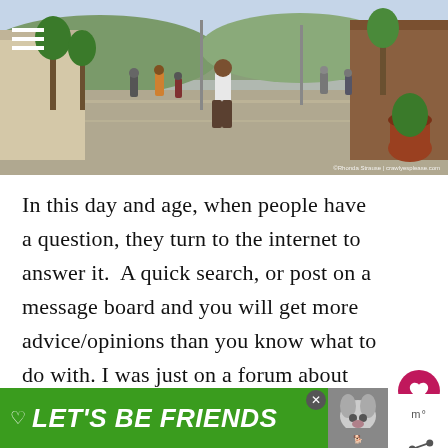[Figure (photo): Outdoor street scene with people walking on a wide paved pedestrian plaza lined with trees and colonial-style buildings. A man in a white tank top walks toward the camera in the center. Photo credit: ©Rhonda Strause | crawlyesplease.com]
In this day and age, when people have a question, they turn to the internet to answer it.  A quick search, or post on a message board and you will get more advice/opinions than you know what to do with. I was just on a forum about
[Figure (infographic): Green advertisement banner at the bottom reading LET'S BE FRIENDS in large bold italic white text, with a heart icon and a dog photo on the right side. Has a close button (X).]